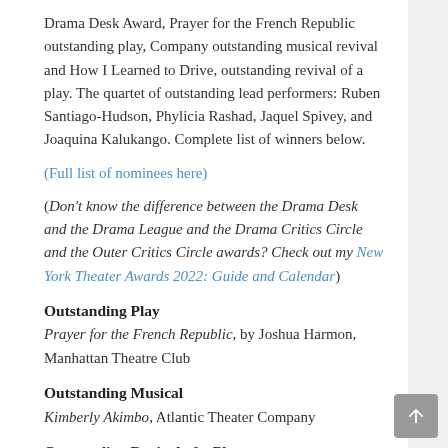Drama Desk Award, Prayer for the French Republic outstanding play, Company outstanding musical revival and How I Learned to Drive, outstanding revival of a play. The quartet of outstanding lead performers: Ruben Santiago-Hudson, Phylicia Rashad, Jaquel Spivey, and Joaquina Kalukango. Complete list of winners below.
(Full list of nominees here)
(Don't know the difference between the Drama Desk and the Drama League and the Drama Critics Circle and the Outer Critics Circle awards? Check out my New York Theater Awards 2022: Guide and Calendar)
Outstanding Play
Prayer for the French Republic, by Joshua Harmon, Manhattan Theatre Club
Outstanding Musical
Kimberly Akimbo, Atlantic Theater Company
Outstanding Revival of a Play
How I Learned to Drive, Manhattan Theatre Club